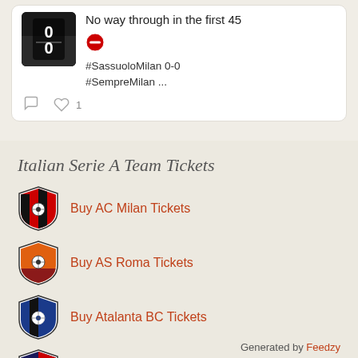[Figure (screenshot): Tweet card showing a soccer match thumbnail with score 0-0, text 'No way through in the first 45', a no-entry symbol, hashtags #SassuoloMilan 0-0 #SempreMilan ..., and like/comment action icons with count 1]
Italian Serie A Team Tickets
Buy AC Milan Tickets
Buy AS Roma Tickets
Buy Atalanta BC Tickets
Buy Bologna FC Tickets
Generated by Feedzy